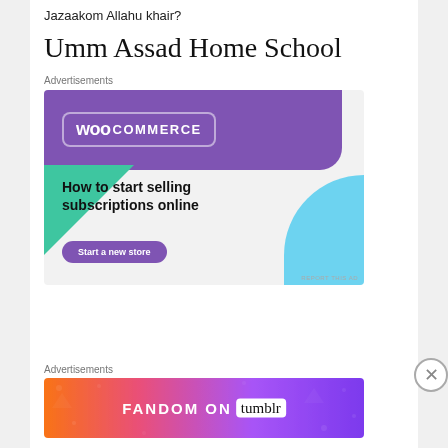Jazaakom Allahu khair?
Umm Assad Home School
Advertisements
[Figure (screenshot): WooCommerce advertisement banner: purple header with WooCommerce logo, green triangle accent, blue quarter-circle, text 'How to start selling subscriptions online', purple 'Start a new store' button]
Advertisements
[Figure (screenshot): Fandom on Tumblr advertisement banner with colorful gradient background (orange to purple) and white/black text reading FANDOM ON tumblr]